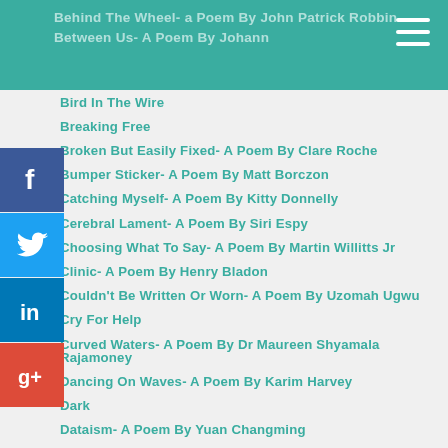Behind The Wheel- a Poem By John Patrick Robbin
Between Us- A Poem By Johann
Bird In The Wire
Breaking Free
Broken But Easily Fixed- A Poem By Clare Roche
Bumper Sticker- A Poem By Matt Borczon
Catching Myself- A Poem By Kitty Donnelly
Cerebral Lament- A Poem By Siri Espy
Choosing What To Say- A Poem By Martin Willitts Jr
Clinic- A Poem By Henry Bladon
Couldn't Be Written Or Worn- A Poem By Uzomah Ugwu
Cry For Help
Curved Waters- A Poem By Dr Maureen Shyamala Rajamoney
Dancing On Waves- A Poem By Karim Harvey
Dark
Dataism- A Poem By Yuan Changming
Dear Future- A Poem By Anna Rivers
Dear Kathryne
Deep In My Couch- A Poem By Michael Lee Johnson
Deliverance- A Poem By Paula Matthews
Diagnosis- A Poem By Margaret Krusinga